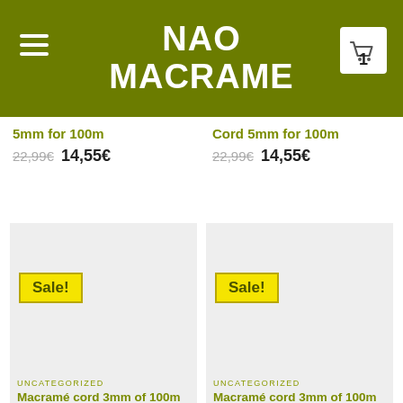NAO MACRAME
5mm for 100m  22,99€  14,55€
Cord 5mm for 100m  22,99€  14,55€
[Figure (screenshot): Product card with Sale! badge for Macramé cord 3mm of 100m color Dark Purple, light grey background]
[Figure (screenshot): Product card with Sale! badge for Macramé cord 3mm of 100m color Black, light grey background]
UNCATEGORIZED
Macramé cord 3mm of 100m color Dark Purple
17,22€  11,90€
UNCATEGORIZED
Macramé cord 3mm of 100m color Black
17,22€  11,90€